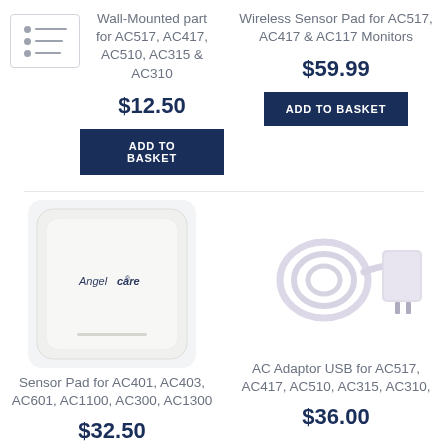Wall-Mounted part for AC517, AC417, AC510, AC315 & AC310
$12.50
ADD TO BASKET
Wireless Sensor Pad for AC517, AC417 & AC117 Monitors
$59.99
ADD TO BASKET
[Figure (photo): Angelcare sensor pad device — white square unit with rounded corners]
[Figure (photo): AC adaptor USB with coiled white cable and wall plug]
Sensor Pad for AC401, AC403, AC601, AC1100, AC300, AC1300
$32.50
AC Adaptor USB for AC517, AC417, AC510, AC315, AC310,
$36.00